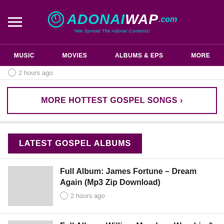ADONAIWAP.com - We Spread The Adonai Contents!
MUSIC | MOVIES | ALBUMS & EPS | MORE
2 hours ago
MORE HOTTEST GOSPEL SONGS >
LATEST GOSPEL ALBUMS
Full Album: James Fortune – Dream Again (Mp3 Zip Download)
2 hours ago
Full Album: William Murphy – Worship & Justice (Mp3 Zip Download)
2 hours ago